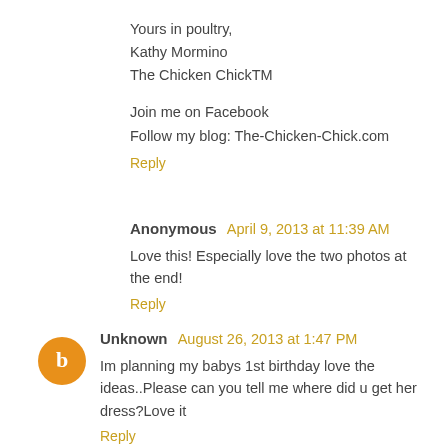Yours in poultry,
Kathy Mormino
The Chicken ChickTM
Join me on Facebook
Follow my blog: The-Chicken-Chick.com
Reply
Anonymous April 9, 2013 at 11:39 AM
Love this! Especially love the two photos at the end!
Reply
Unknown August 26, 2013 at 1:47 PM
Im planning my babys 1st birthday love the ideas..Please can you tell me where did u get her dress?Love it
Reply